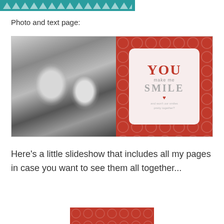decorative triangle border header
Photo and text page:
[Figure (photo): Left half: black and white selfie photo of a smiling couple (man and woman). Right half: red patterned background with a white rounded-corner card reading 'YOU make me SMILE' with a small red heart and text 'and won't our smiles pretty together?']
Here’s a little slideshow that includes all my pages in case you want to see them all together...
[Figure (photo): Bottom partial preview of a red patterned background (cropped)]